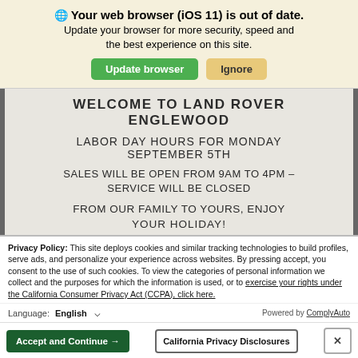🌐 Your web browser (iOS 11) is out of date. Update your browser for more security, speed and the best experience on this site.
Update browser | Ignore
WELCOME TO LAND ROVER ENGLEWOOD
LABOR DAY HOURS FOR MONDAY SEPTEMBER 5TH
SALES WILL BE OPEN FROM 9AM TO 4PM – SERVICE WILL BE CLOSED
FROM OUR FAMILY TO YOURS, ENJOY YOUR HOLIDAY!
Privacy Policy: This site deploys cookies and similar tracking technologies to build profiles, serve ads, and personalize your experience across websites. By pressing accept, you consent to the use of such cookies. To view the categories of personal information we collect and the purposes for which the information is used, or to exercise your rights under the California Consumer Privacy Act (CCPA), click here.
Language: English ∨  Powered by ComplyAuto
Accept and Continue →  California Privacy Disclosures  ×